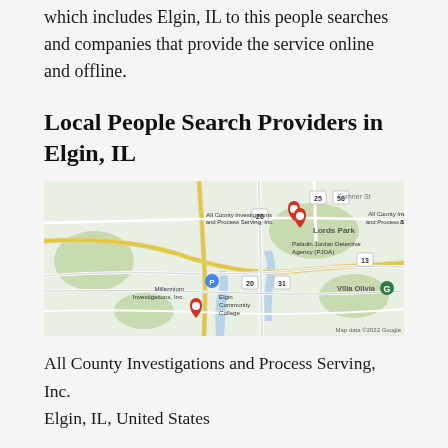which includes Elgin, IL to this people searches and companies that provide the service online and offline.
Local People Search Providers in Elgin, IL
[Figure (map): Google Maps view of Elgin, IL showing pins for All County Investigations and Process Serving, Inc., Paladin Jordan Detective Agency (PJDA), Millennium Investigations, Inc., and Elgin Community College area. Map data ©2022 Google.]
All County Investigations and Process Serving, Inc.
Elgin, IL, United States